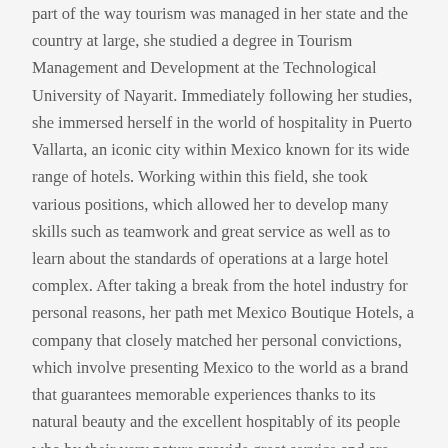part of the way tourism was managed in her state and the country at large, she studied a degree in Tourism Management and Development at the Technological University of Nayarit. Immediately following her studies, she immersed herself in the world of hospitality in Puerto Vallarta, an iconic city within Mexico known for its wide range of hotels. Working within this field, she took various positions, which allowed her to develop many skills such as teamwork and great service as well as to learn about the standards of operations at a large hotel complex. After taking a break from the hotel industry for personal reasons, her path met Mexico Boutique Hotels, a company that closely matched her personal convictions, which involve presenting Mexico to the world as a brand that guarantees memorable experiences thanks to its natural beauty and the excellent hospitably of its people who by their very nature provide great service and are excellent hosts. Angela currently serves as Chief E-Concierge and Travel Designer for the aforementioned company, offering travelers the opportunity to live a different experience every day, where attention to details make a huge difference.